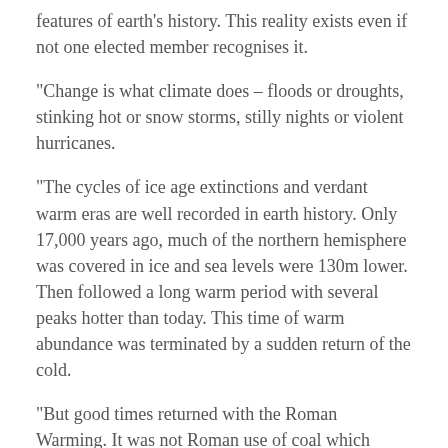features of earth's history. This reality exists even if not one elected member recognises it.
“Change is what climate does – floods or droughts, stinking hot or snow storms, stilly nights or violent hurricanes.
“The cycles of ice age extinctions and verdant warm eras are well recorded in earth history. Only 17,000 years ago, much of the northern hemisphere was covered in ice and sea levels were 130m lower. Then followed a long warm period with several peaks hotter than today. This time of warm abundance was terminated by a sudden return of the cold.
“But good times returned with the Roman Warming. It was not Roman use of coal which caused the warming and no carbon tax triggered the lethal Dark Ages cooling which followed.
“Then, with no help from man’s carbon dioxide, earth recovered into the Medieval Warming Period but soon slipped back into the bitter Little Ice Age that helped defeat Napoleon’s